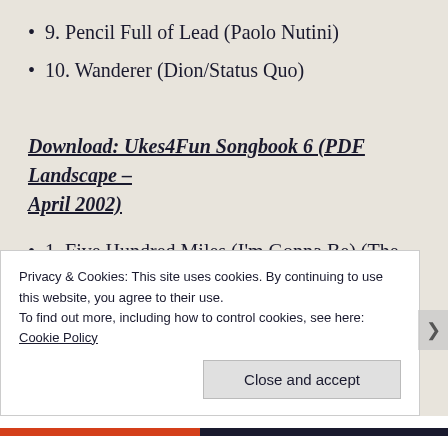9. Pencil Full of Lead (Paolo Nutini)
10. Wanderer (Dion/Status Quo)
Download: Ukes4Fun Songbook 6 (PDF Landscape – April 2002)
1. Five Hundred Miles (I'm Gonna Be) (The
Privacy & Cookies: This site uses cookies. By continuing to use this website, you agree to their use.
To find out more, including how to control cookies, see here:
Cookie Policy
Close and accept